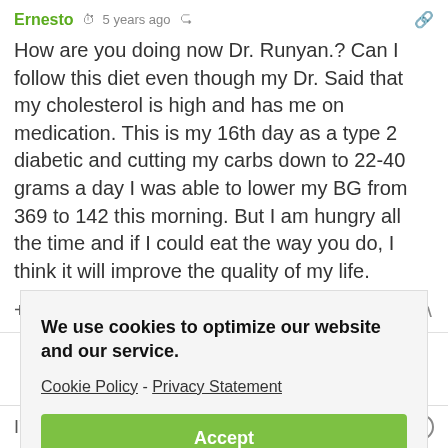Ernesto · 5 years ago
How are you doing now Dr. Runyan.? Can I follow this diet even though my Dr. Said that my cholesterol is high and has me on medication. This is my 16th day as a type 2 diabetic and cutting my carbs down to 22-40 grams a day I was able to lower my BG from 369 to 142 this morning. But I am hungry all the time and if I could eat the way you do, I think it will improve the quality of my life.
+ 11 — Reply
We use cookies to optimize our website and our service.
Cookie Policy - Privacy Statement
Accept
I'm on oral hypoglycemic agent I do feel hungry